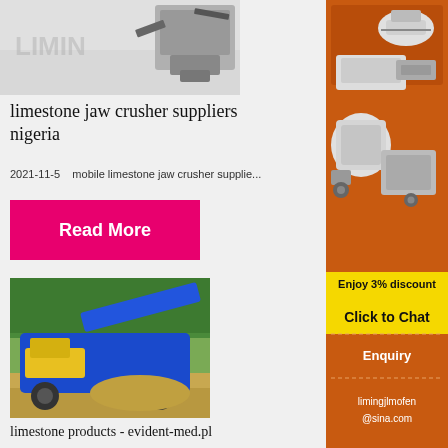[Figure (photo): Top portion of a limestone jaw crusher machine with LIMING watermark, partial view showing metallic machinery on grey background]
limestone jaw crusher suppliers nigeria
2021-11-5    mobile limestone jaw crusher supplie...
[Figure (other): Pink/magenta Read More button]
[Figure (photo): Blue and yellow mobile limestone crushing machine working on sandy ground with trees in background]
limestone products - evident-med.pl
[Figure (infographic): Orange sidebar with crusher machinery images, Enjoy 3% discount yellow banner, Click to Chat yellow button, Enquiry text, and limingjlmofen@sina.com email]